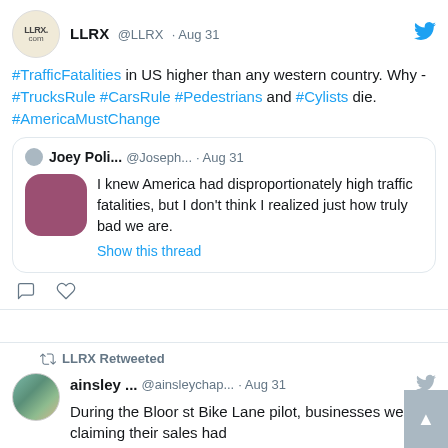[Figure (screenshot): Screenshot of a Twitter/social media interface showing two tweets. First tweet by LLRX @LLRX dated Aug 31 about traffic fatalities with hashtags. Includes a quoted reply by Joey Poli... @Joseph... dated Aug 31 with a mauve avatar image. Second tweet shows LLRX Retweeted ainsley ... @ainsleychap... dated Aug 31 about Bloor st Bike Lane pilot.]